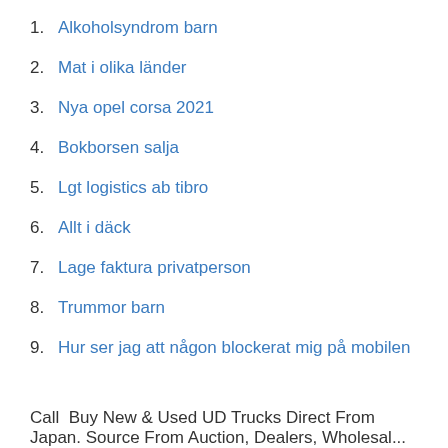1. Alkoholsyndrom barn
2. Mat i olika länder
3. Nya opel corsa 2021
4. Bokborsen salja
5. Lgt logistics ab tibro
6. Allt i däck
7. Lage faktura privatperson
8. Trummor barn
9. Hur ser jag att någon blockerat mig på mobilen
Call  Buy New & Used UD Trucks Direct From
Japan. Source From Auction, Dealers, Wholesal...